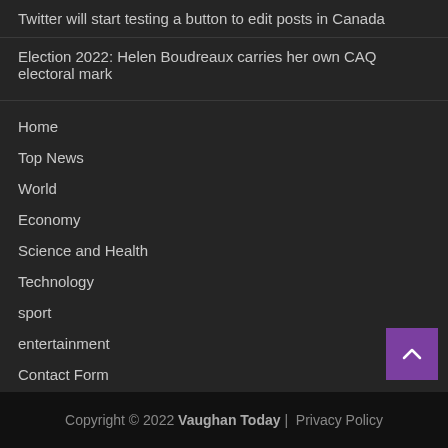Twitter will start testing a button to edit posts in Canada
Election 2022: Helen Boudreaux carries her own CAQ electoral mark
Home
Top News
World
Economy
Science and Health
Technology
sport
entertainment
Contact Form
Copyright © 2022 Vaughan Today | Privacy Policy